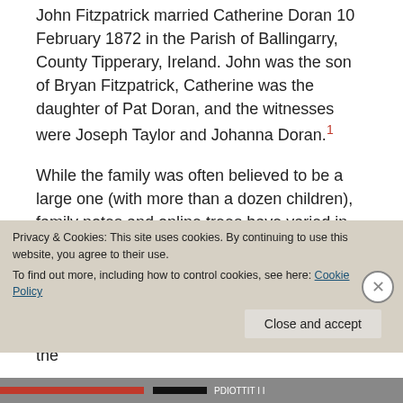John Fitzpatrick married Catherine Doran 10 February 1872 in the Parish of Ballingarry, County Tipperary, Ireland. John was the son of Bryan Fitzpatrick, Catherine was the daughter of Pat Doran, and the witnesses were Joseph Taylor and Johanna Doran.[1]
While the family was often believed to be a large one (with more than a dozen children), family notes and online trees have varied in the detail provided about the children of John and Catherine (and even in their names or how many of them there were).
I have assembled evidence found to date for the
Privacy & Cookies: This site uses cookies. By continuing to use this website, you agree to their use. To find out more, including how to control cookies, see here: Cookie Policy